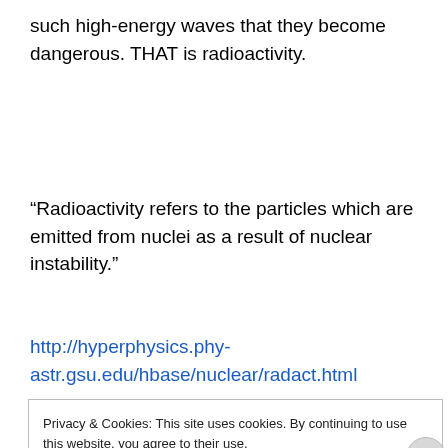such high-energy waves that they become dangerous. THAT is radioactivity.
“Radioactivity refers to the particles which are emitted from nuclei as a result of nuclear instability.”
http://hyperphysics.phy-astr.gsu.edu/hbase/nuclear/radact.html
Privacy & Cookies: This site uses cookies. By continuing to use this website, you agree to their use.
To find out more, including how to control cookies, see here: Cookie Policy